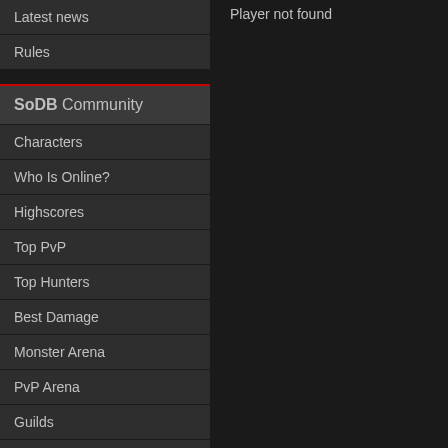Latest news
Rules
SoDB Community
Characters
Who Is Online?
Highscores
Top PvP
Top Hunters
Best Damage
Monster Arena
PvP Arena
Guilds
Last Deaths
Daily Rewards
Lottery
Casts
Character Market
Player not found